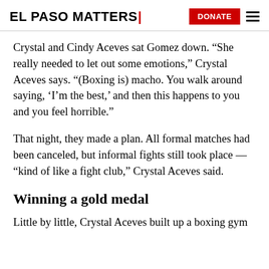EL PASO MATTERS | DONATE
Crystal and Cindy Aceves sat Gomez down. “She really needed to let out some emotions,” Crystal Aceves says. “(Boxing is) macho. You walk around saying, ‘I’m the best,’ and then this happens to you and you feel horrible.”
That night, they made a plan. All formal matches had been canceled, but informal fights still took place — “kind of like a fight club,” Crystal Aceves said.
Winning a gold medal
Little by little, Crystal Aceves built up a boxing gym